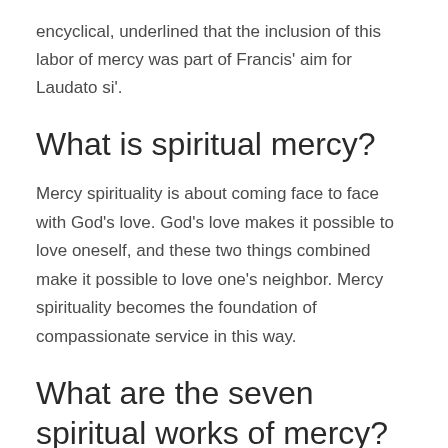encyclical, underlined that the inclusion of this labor of mercy was part of Francis' aim for Laudato si'.
What is spiritual mercy?
Mercy spirituality is about coming face to face with God's love. God's love makes it possible to love oneself, and these two things combined make it possible to love one's neighbor. Mercy spirituality becomes the foundation of compassionate service in this way.
What are the seven spiritual works of mercy?
As you may recall, I mentioned in my previous column that